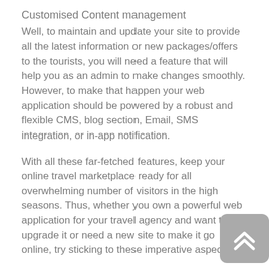Customised Content management
Well, to maintain and update your site to provide all the latest information or new packages/offers to the tourists, you will need a feature that will help you as an admin to make changes smoothly. However, to make that happen your web application should be powered by a robust and flexible CMS, blog section, Email, SMS integration, or in-app notification.
With all these far-fetched features, keep your online travel marketplace ready for all overwhelming number of visitors in the high seasons. Thus, whether you own a powerful web application for your travel agency and want to upgrade it or need a new site to make it go online, try sticking to these imperative aspects.
Source: http://EzineArticles.com/9971524